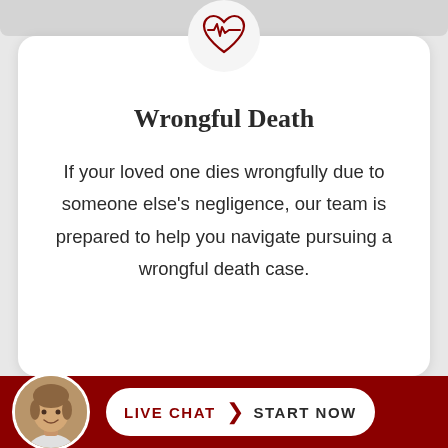[Figure (illustration): Heart with ECG/pulse line icon in dark red, inside a light gray circle at the top of the white card]
Wrongful Death
If your loved one dies wrongfully due to someone else's negligence, our team is prepared to help you navigate pursuing a wrongful death case.
[Figure (photo): Circular avatar photo of a smiling woman with shoulder-length brown hair, on the bottom dark red bar]
LIVE CHAT  START NOW